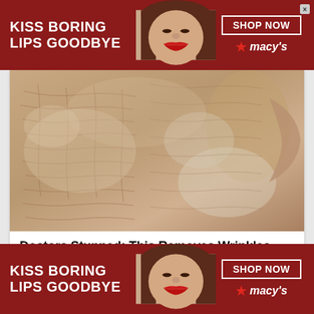[Figure (infographic): Top Macy's advertisement banner with dark red background, white bold text 'KISS BORING LIPS GOODBYE', center image of woman's face with red lips, right side 'SHOP NOW' button in white border and Macy's logo with red star]
[Figure (photo): Close-up photo of severely dry, wrinkled skin on a face showing extreme texture and dehydration]
Doctors Stunned: This Removes Wrinkles and Eye-bags Like Crazy (Try Tonight!)
Trending Stories
[Figure (infographic): Bottom Macy's advertisement banner with dark red background, white bold text 'KISS BORING LIPS GOODBYE', center image of woman's face with red lips, right side 'SHOP NOW' button and Macy's logo with red star]